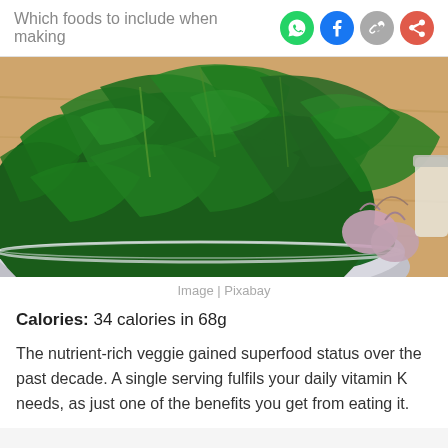Which foods to include when making
[Figure (photo): A metal bowl filled with fresh dark green kale leaves on a wooden cutting board, with garlic bulbs and a jar visible to the right.]
Image | Pixabay
Calories: 34 calories in 68g
The nutrient-rich veggie gained superfood status over the past decade. A single serving fulfils your daily vitamin K needs, as just one of the benefits you get from eating it.